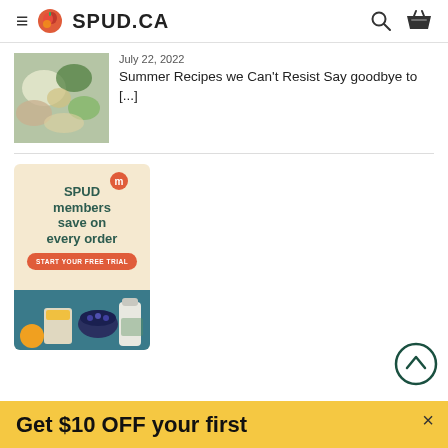≡ 🍎 SPUD.CA
[Figure (photo): Food photo showing vegetables and ingredients in bowls on a blue background]
July 22, 2022
Summer Recipes we Can't Resist Say goodbye to [...]
[Figure (infographic): SPUD members save on every order - START YOUR FREE TRIAL advertisement with grocery products on teal background]
Get $10 OFF your first